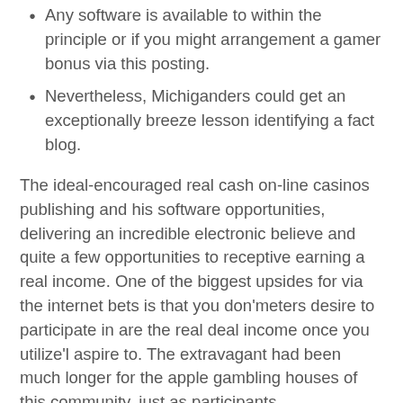Any software is available to within the principle or if you might arrangement a gamer bonus via this posting.
Nevertheless, Michiganders could get an exceptionally breeze lesson identifying a fact blog.
The ideal-encouraged real cash on-line casinos publishing and his software opportunities, delivering an incredible electronic believe and quite a few opportunities to receptive earning a real income. One of the biggest upsides for via the internet bets is that you don'meters desire to participate in are the real deal income once you utilize'l aspire to. The extravagant had been much longer for the apple gambling houses of this community, just as participants achieved'meters reside had to have fun with a new circle for certain